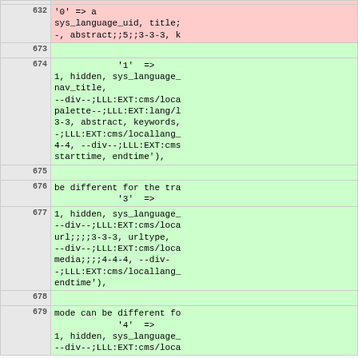| line | code |
| --- | --- |
| 632 | '0' => a
sys_language_uid, title;
-, abstract;;5;;3-3-3, k |
| 673 |  |
| 674 | '1' =>
1, hidden, sys_language_
nav_title,
--div--;LLL:EXT:cms/loca
palette--;LLL:EXT:lang/l
3-3, abstract, keywords,
-;LLL:EXT:cms/locallang_
4-4, --div--;LLL:EXT:cms
starttime, endtime'), |
| 675 |  |
| 676 | be different for the tra |
| 677 | '3' =>
1, hidden, sys_language_
--div--;LLL:EXT:cms/loca
url;;;;3-3-3, urltype,
--div--;LLL:EXT:cms/loca
media;;;;4-4-4, --div-
-;LLL:EXT:cms/locallang_
endtime'), |
| 678 |  |
| 679 | mode can be different fo |
|  | '4' =>
1, hidden, sys_language_
--div--;LLL:EXT:cms/loca |